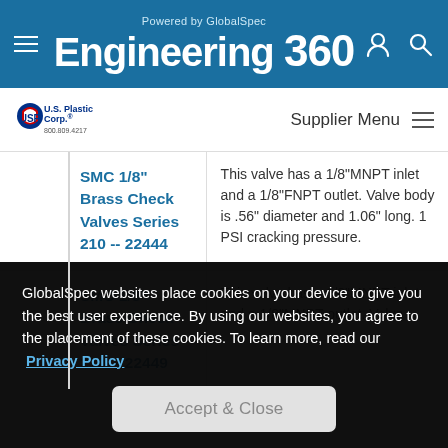Powered by GlobalSpec Engineering 360
[Figure (logo): U.S. Plastic Corp. (USP) logo with red, white, blue shield emblem]
Supplier Menu
SMC 1/8" Brass Check Valves Series 210 -- 22444
This valve has a 1/8"MNPT inlet and a 1/8"FNPT outlet. Valve body is .56" diameter and 1.06" long. 1 PSI cracking pressure.
SMC 1/8" Brass Check Valves Series 210 -- 22449
This valve has a 1/8"MNPT inlet and a 1/8"MNPT outlet. Valve
GlobalSpec websites place cookies on your device to give you the best user experience. By using our websites, you agree to the placement of these cookies. To learn more, read our Privacy Policy
Accept & Close